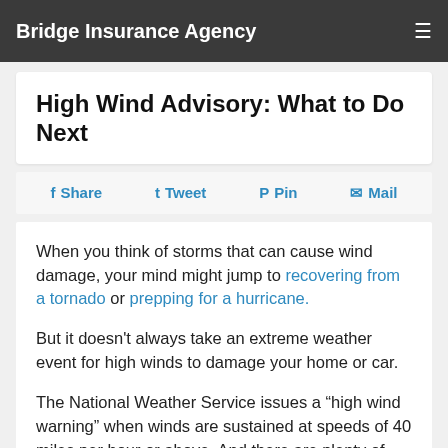Bridge Insurance Agency
High Wind Advisory: What to Do Next
Share  Tweet  Pin  Mail
When you think of storms that can cause wind damage, your mind might jump to recovering from a tornado or prepping for a hurricane.
But it doesn't always take an extreme weather event for high winds to damage your home or car.
The National Weather Service issues a “high wind warning” when winds are sustained at speeds of 40 miles per hour or above. And there are plenty of conditions capable of producing these types of winds—including severe thunderstorms, cold fronts and atmospheric pressure variations.